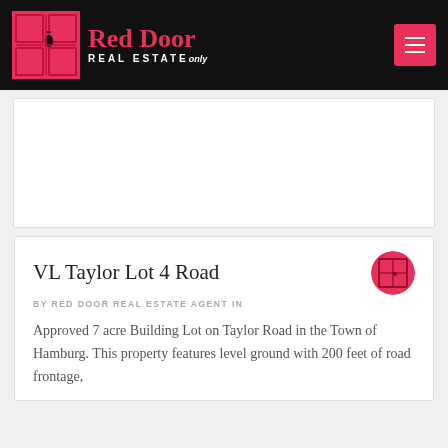Red Door Real Estate
[Figure (logo): Red Door Real Estate logo with red door icon and red text on black background, with red hamburger menu button on right]
VL Taylor Lot 4 Road
BY RED DOOR REAL ESTATE AGENT IN
Approved 7 acre Building Lot on Taylor Road in the Town of Hamburg. This property features level ground with 200 feet of road frontage,